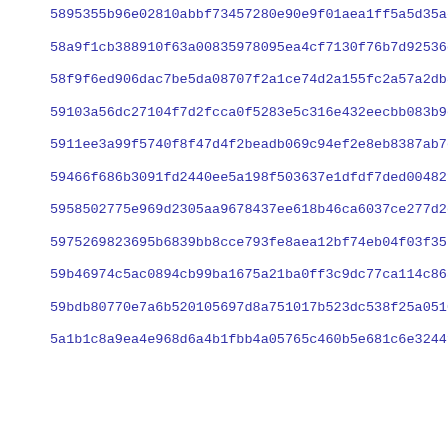5895355b96e02810abbf73457280e90e9f01aea1ff5a5d35add4e26469c80
58a9f1cb388910f63a00835978095ea4cf7130f76b7d92536c942b6834f14
58f9f6ed906dac7be5da08707f2a1ce74d2a155fc2a57a2db886d821e3833
59103a56dc27104f7d2fcca0f5283e5c316e432eecbb083b9ebe9d8bef551
5911ee3a99f5740f8f47d4f2beadb069c94ef2e8eb8387ab7ee685007536c
59466f686b3091fd2440ee5a198f503637e1dfdf7ded004821f0fc4443057
5958502775e969d2305aa9678437ee618b46ca6037ce277d2ee349efe2efc
5975269823695b6839bb8cce793fe8aea12bf74eb04f03f3564de195ec973
59b46974c5ac0894cb99ba1675a21ba0ff3c9dc77ca114c86502d4fa06d7a
59bdb80770e7a6b520105697d8a751017b523dc538f25a0510af42d33b5a2
5a1b1c8a9ea4e968d6a4b1fbb4a05765c460b5e681c6e3244f0fca29ad887